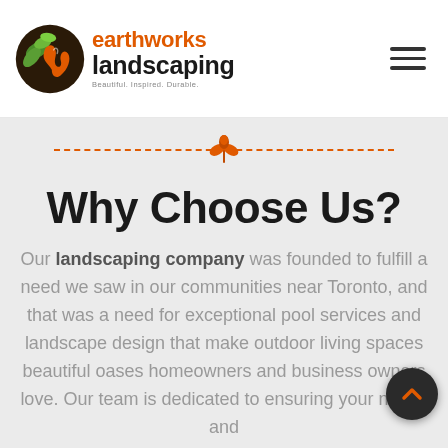[Figure (logo): Earthworks Landscaping logo with green and orange leaf/swirl icon, company name in orange and dark, tagline 'Beautiful. Inspired. Durable.']
[Figure (illustration): Orange dashed horizontal divider line with a small orange plant/sprout icon centered on it]
Why Choose Us?
Our landscaping company was founded to fulfill a need we saw in our communities near Toronto, and that was a need for exceptional pool services and landscape design that make outdoor living spaces beautiful oases homeowners and business owners love. Our team is dedicated to ensuring your needs and